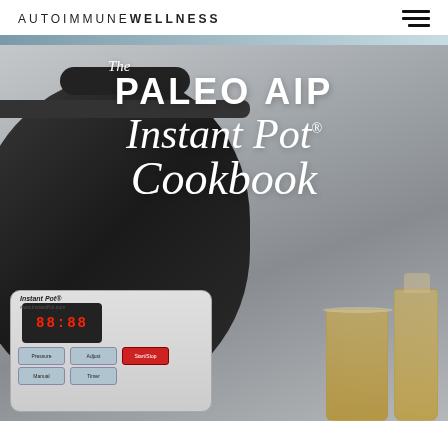AUTOIMMUNE WELLNESS
[Figure (photo): Cookbook cover showing 'The Paleo AIP Instant Pot Cookbook' title text overlaid on a photo of an Instant Pot pressure cooker and glasses of golden liquid, with a muted steel-blue accent bar above the image.]